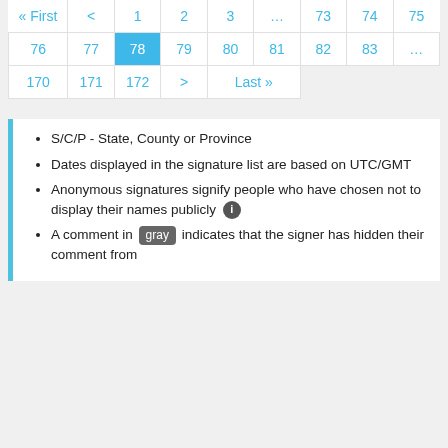[Figure (other): Pagination navigation showing pages: First, <, 1, 2, 3, ..., 73, 74, 75 on first row; 76, 77, 78 (active/highlighted), 79, 80, 81, 82, 83, ... on second row; 170, 171, 172, >, Last >> on third row.]
S/C/P - State, County or Province
Dates displayed in the signature list are based on UTC/GMT
Anonymous signatures signify people who have chosen not to display their names publicly ℹ
A comment in gray indicates that the signer has hidden their comment from